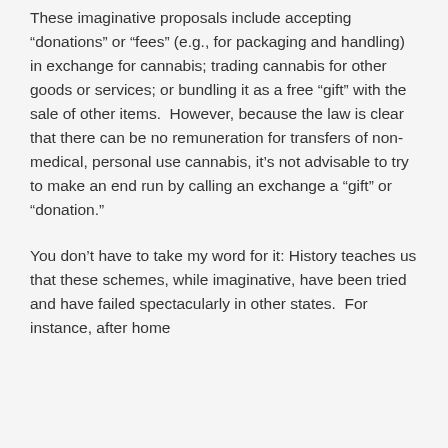These imaginative proposals include accepting “donations” or “fees” (e.g., for packaging and handling) in exchange for cannabis; trading cannabis for other goods or services; or bundling it as a free “gift” with the sale of other items.  However, because the law is clear that there can be no remuneration for transfers of non-medical, personal use cannabis, it’s not advisable to try to make an end run by calling an exchange a “gift” or “donation.”
You don’t have to take my word for it: History teaches us that these schemes, while imaginative, have been tried and have failed spectacularly in other states.  For instance, after home